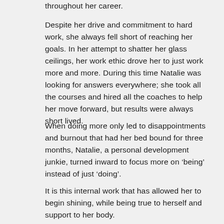throughout her career.
Despite her drive and commitment to hard work, she always fell short of reaching her goals. In her attempt to shatter her glass ceilings, her work ethic drove her to just work more and more. During this time Natalie was looking for answers everywhere; she took all the courses and hired all the coaches to help her move forward, but results were always short lived.
When doing more only led to disappointments and burnout that had her bed bound for three months, Natalie, a personal development junkie, turned inward to focus more on ‘being’ instead of just ‘doing’.
It is this internal work that has allowed her to begin shining, while being true to herself and support to her body.